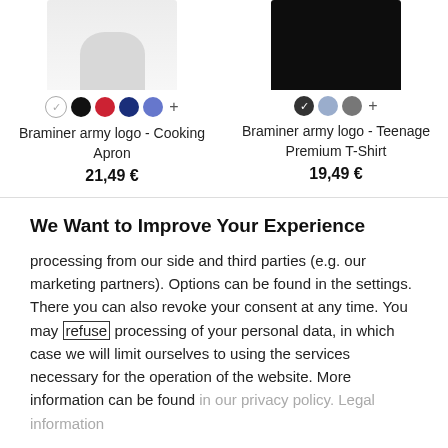[Figure (photo): Product image of white cooking apron (top portion visible)]
[Figure (photo): Product image of black teenage premium t-shirt (top portion visible)]
Braminer army logo - Cooking Apron
21,49 €
Braminer army logo - Teenage Premium T-Shirt
19,49 €
We Want to Improve Your Experience
processing from our side and third parties (e.g. our marketing partners). Options can be found in the settings. There you can also revoke your consent at any time. You may refuse processing of your personal data, in which case we will limit ourselves to using the services necessary for the operation of the website. More information can be found in our privacy policy. Legal information